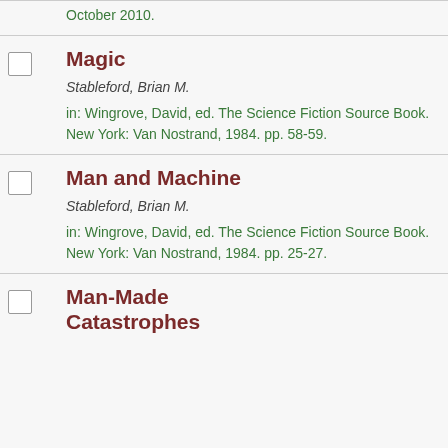Magic
Stableford, Brian M.
in: Wingrove, David, ed. The Science Fiction Source Book. New York: Van Nostrand, 1984. pp. 58-59.
Man and Machine
Stableford, Brian M.
in: Wingrove, David, ed. The Science Fiction Source Book. New York: Van Nostrand, 1984. pp. 25-27.
Man-Made Catastrophes